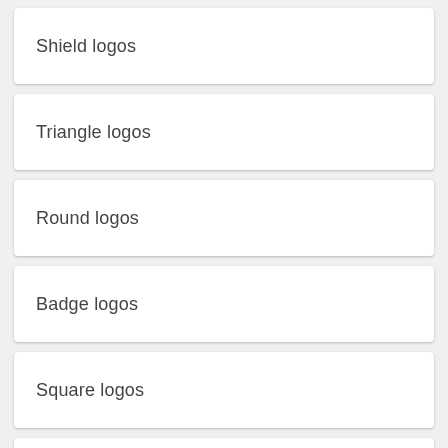Shield logos
Triangle logos
Round logos
Badge logos
Square logos
Photography logos
Colorful logos